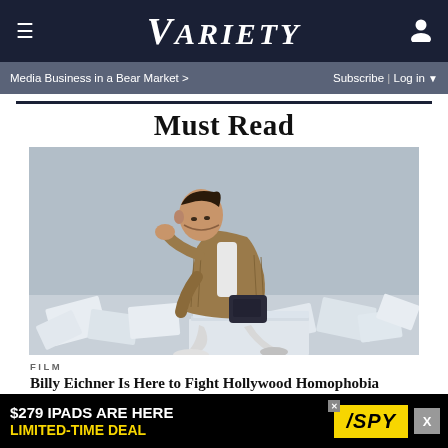VARIETY
Media Business in a Bear Market > | Subscribe | Log in
Must Read
[Figure (photo): A man in a brown knit cardigan and white pants sits on a stack of papers surrounded by scattered sheets, resting his head in one hand and holding a camera bag in the other. Studio photo against grey background.]
FILM
Billy Eichner Is Here to Fight Hollywood Homophobia
[Figure (other): Advertisement banner: $279 IPADS ARE HERE LIMITED-TIME DEAL, SPY logo in yellow]